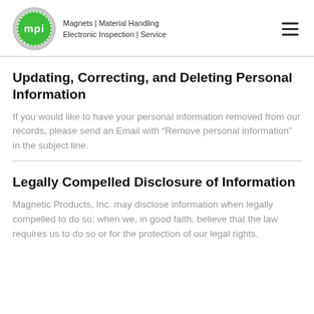MPI | Magnets | Material Handling | Electronic Inspection | Service
Updating, Correcting, and Deleting Personal Information
If you would like to have your personal information removed from our records, please send an Email with “Remove personal information” in the subject line.
Legally Compelled Disclosure of Information
Magnetic Products, Inc. may disclose information when legally compelled to do so: when we, in good faith, believe that the law requires us to do so or for the protection of our legal rights.